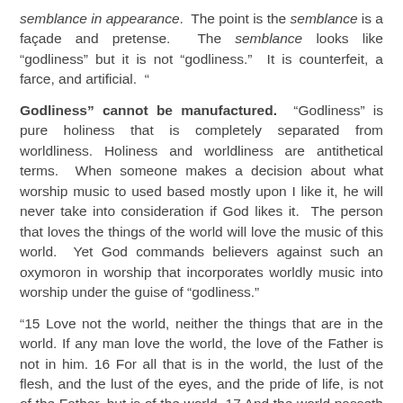semblance in appearance.  The point is the semblance is a façade and pretense.  The semblance looks like “godliness” but it is not “godliness.”  It is counterfeit, a farce, and artificial.  “
Godliness” cannot be manufactured.  “Godliness” is pure holiness that is completely separated from worldliness.  Holiness and worldliness are antithetical terms.  When someone makes a decision about what worship music to used based mostly upon I like it, he will never take into consideration if God likes it.  The person that loves the things of the world will love the music of this world.  Yet God commands believers against such an oxymoron in worship that incorporates worldly music into worship under the guise of “godliness.”
“15 Love not the world, neither the things that are in the world. If any man love the world, the love of the Father is not in him. 16 For all that is in the world, the lust of the flesh, and the lust of the eyes, and the pride of life, is not of the Father, but is of the world. 17 And the world passeth away, and the lust thereof: but he that doeth the will of God abideth for